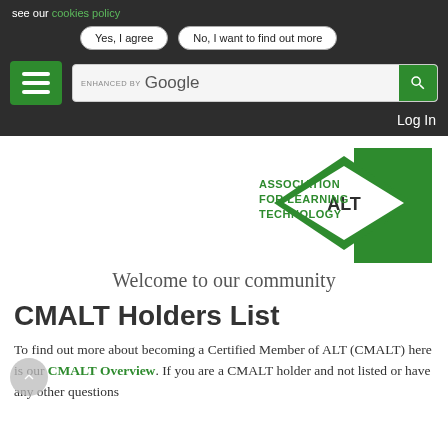see our cookies policy
Yes, I agree | No, I want to find out more
[Figure (screenshot): Navigation bar with hamburger menu icon (green), enhanced by Google search box, and Log In text on dark background]
Log In
[Figure (logo): Association for Learning Technology (ALT) logo - green diamond shape with ALT text and green rectangular background]
Welcome to our community
CMALT Holders List
To find out more about becoming a Certified Member of ALT (CMALT) here is our CMALT Overview. If you are a CMALT holder and not listed or have any other questions